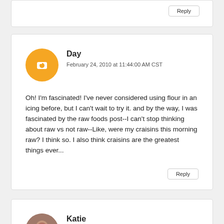Reply
Day
February 24, 2010 at 11:44:00 AM CST
Oh! I'm fascinated! I've never considered using flour in an icing before, but I can't wait to try it. and by the way, I was fascinated by the raw foods post--I can't stop thinking about raw vs not raw--Like, were my craisins this morning raw? I think so. I also think craisins are the greatest things ever...
Reply
Katie
February 24, 2010 at 11:53:00 AM CST
The only two of those restaurants I've eaten at are Babbo and Gramercy Tavern. Sadly, I was slightly disappointed with both (but